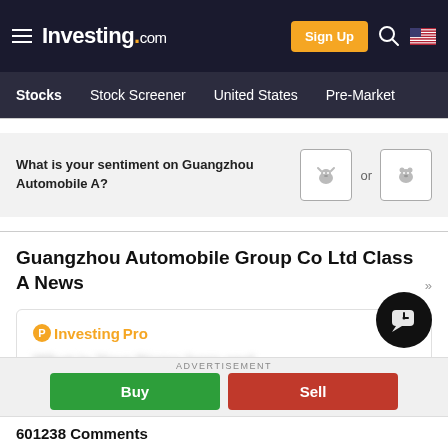Investing.com — Sign Up — Stocks — Stock Screener — United States — Pre-Market
What is your sentiment on Guangzhou Automobile A?
Guangzhou Automobile Group Co Ltd Class A News
[Figure (logo): InvestingPro logo with orange P icon and brand text]
ADVERTISEMENT
Buy
Sell
601238 Comments